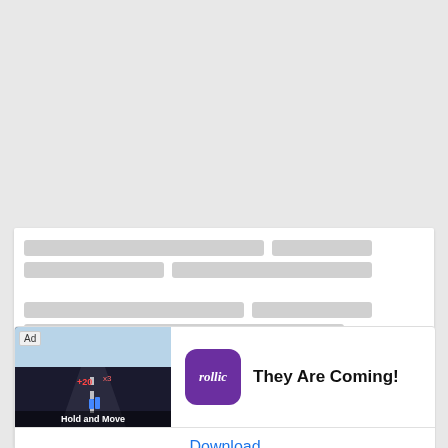[Figure (screenshot): Gray background area at the top of the page, representing a web page background]
[Figure (screenshot): White content card with blurred/redacted text lines visible at the top portion]
This joke may contain profanity. 🔞
[Figure (screenshot): Mobile ad banner for 'Hold and Move' game by Rollic. Shows a road game screenshot on the left, Rollic purple app icon in the middle, 'They Are Coming!' text, and a Download button at the bottom. Has 'Ad' label.]